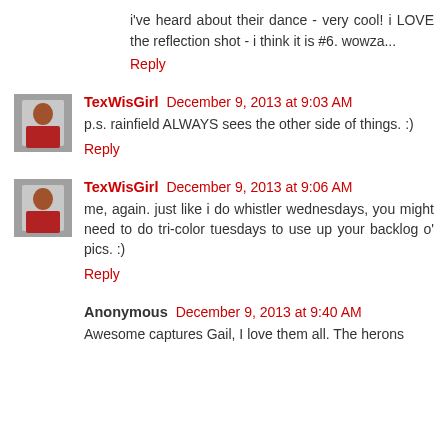i've heard about their dance - very cool! i LOVE the reflection shot - i think it is #6. wowza...
Reply
TexWisGirl December 9, 2013 at 9:03 AM
p.s. rainfield ALWAYS sees the other side of things. :)
Reply
TexWisGirl December 9, 2013 at 9:06 AM
me, again. just like i do whistler wednesdays, you might need to do tri-color tuesdays to use up your backlog o' pics. :)
Reply
Anonymous December 9, 2013 at 9:40 AM
Awesome captures Gail, I love them all. The herons